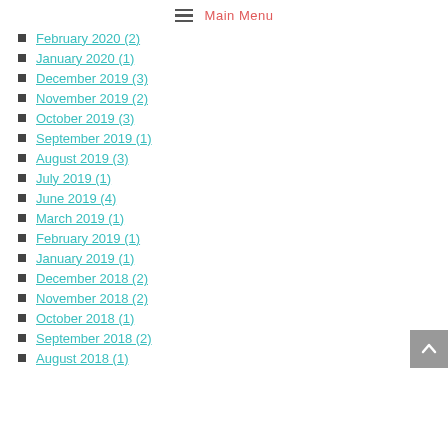Main Menu
February 2020 (2)
January 2020 (1)
December 2019 (3)
November 2019 (2)
October 2019 (3)
September 2019 (1)
August 2019 (3)
July 2019 (1)
June 2019 (4)
March 2019 (1)
February 2019 (1)
January 2019 (1)
December 2018 (2)
November 2018 (2)
October 2018 (1)
September 2018 (2)
August 2018 (1)